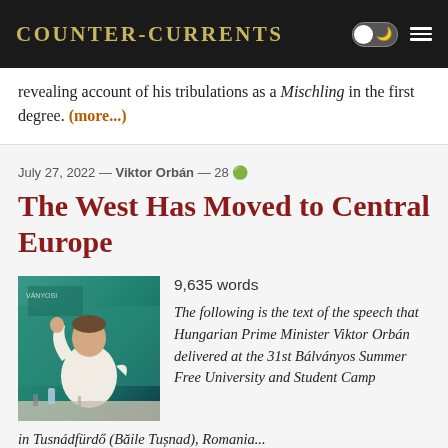Counter-Currents
revealing account of his tribulations as a Mischling in the first degree. (more...)
July 27, 2022 — Viktor Orbán — 28
The West Has Moved to Central Europe
9,635 words
[Figure (photo): Viktor Orbán waving at an event, seated at a table with microphone, wearing a white shirt, with teal banner background]
The following is the text of the speech that Hungarian Prime Minister Viktor Orbán delivered at the 31st Bálványos Summer Free University and Student Camp in Tusnádfürdő (Băile Tușnad), Romania...